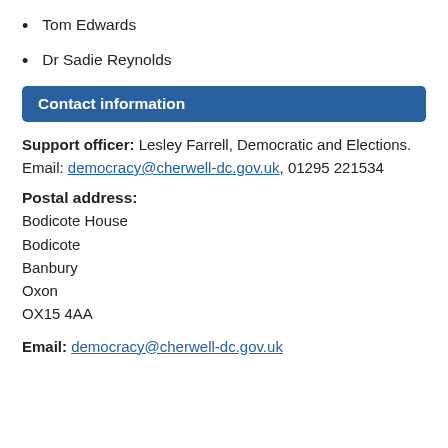Tom Edwards
Dr Sadie Reynolds
Contact information
Support officer: Lesley Farrell, Democratic and Elections. Email: democracy@cherwell-dc.gov.uk, 01295 221534
Postal address:
Bodicote House
Bodicote
Banbury
Oxon
OX15 4AA
Email: democracy@cherwell-dc.gov.uk